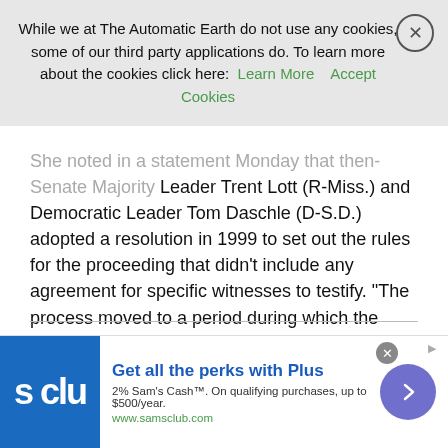While we at The Automatic Earth do not use any cookies, some of our third party applications do. To learn more about the cookies click here: Learn More  Accept Cookies
She noted in a statement Monday that then-Senate Majority Leader Trent Lott (R-Miss.) and Democratic Leader Tom Daschle (D-S.D.) adopted a resolution in 1999 to set out the rules for the proceeding that didn’t include any agreement for specific witnesses to testify. “The process moved to a period during which the Senate debated and voted that three witnesses should be deposed. I believe that this process — the Clinton approach — worked well,” she said. Murkowski also urged colleagues to follow the path laid out during the Clinton trial. “I think we need to do what they did the last time they did this unfortunate process and that was to go through a first phase and then they reassessed after that,” she told reporters.
Read more …
[Figure (other): Advertisement banner for Sam's Club Plus membership: 'Get all the perks with Plus', '2% Sam’s Cash™. On qualifying purchases, up to $500/year.', www.samsclub.com]